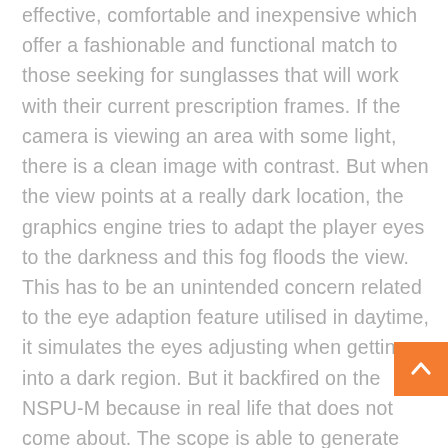effective, comfortable and inexpensive which offer a fashionable and functional match to those seeking for sunglasses that will work with their current prescription frames. If the camera is viewing an area with some light, there is a clean image with contrast. But when the view points at a really dark location, the graphics engine tries to adapt the player eyes to the darkness and this fog floods the view. This has to be an unintended concern related to the eye adaption feature utilised in daytime, it simulates the eyes adjusting when getting into a dark region. But it backfired on the NSPU-M because in real life that does not come about. The scope is able to generate visible contrast in close to total darkness. But ingame it only operates in areas where it is already nicely lit. Read evaluations and purchase Cocoons...